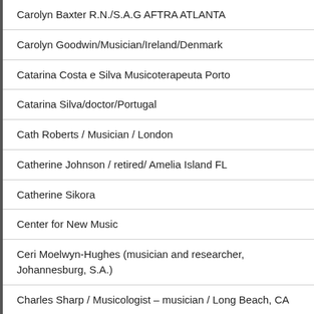Carolyn Baxter R.N./S.A.G AFTRA ATLANTA
Carolyn Goodwin/Musician/Ireland/Denmark
Catarina Costa e Silva Musicoterapeuta Porto
Catarina Silva/doctor/Portugal
Cath Roberts / Musician / London
Catherine Johnson / retired/ Amelia Island FL
Catherine Sikora
Center for New Music
Ceri Moelwyn-Hughes (musician and researcher, Johannesburg, S.A.)
Charles Sharp / Musicologist – musician / Long Beach, CA